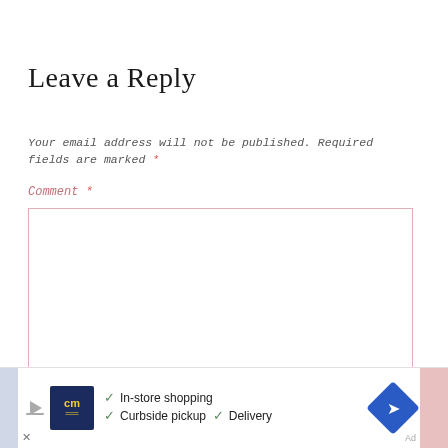Leave a Reply
Your email address will not be published. Required fields are marked *
Comment *
[Figure (screenshot): Empty comment text area input box with pink/rose border]
[Figure (infographic): Advertisement banner showing Canadian Magnificence store with checkmarks for In-store shopping, Curbside pickup, and Delivery options. Features play button, CM logo, and navigation arrow icon.]